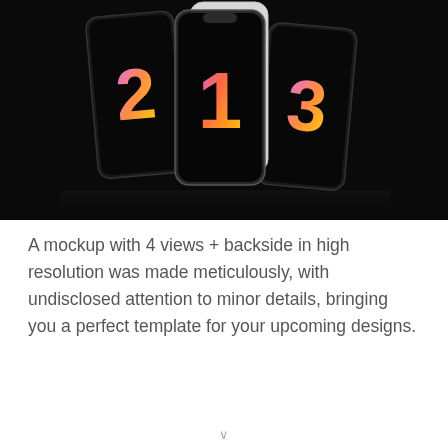[Figure (photo): Three smartphone mockups (iPhone X style) displayed on a black background. The center phone shows the front face with number '1' in gradient colors on its screen. The left phone shows number '2' and the right phone shows number '3', both with gradient colored numerals on black screens. The center phone also shows its silver/white back panel behind it.]
A mockup with 4 views + backside in high resolution was made meticulously, with undisclosed attention to minor details, bringing you a perfect template for your upcoming designs.